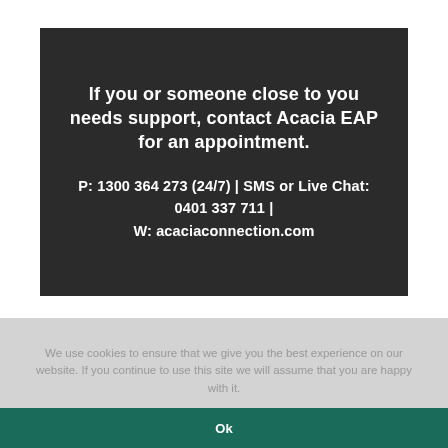[Figure (infographic): Dark gray box with white bold text promoting Acacia EAP contact information for support services]
We use cookies to ensure that we give you the best experience on our website. If you continue to use this site we will assume that you are happy with it.
Ok